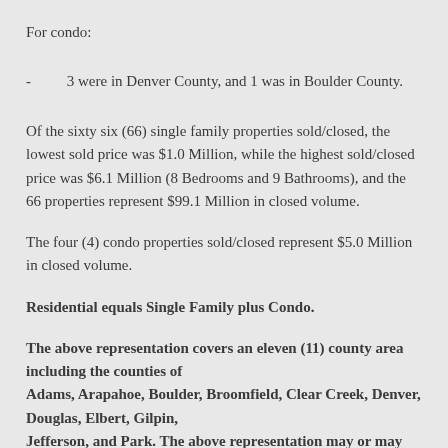For condo:
- 3 were in Denver County, and 1 was in Boulder County.
Of the sixty six (66) single family properties sold/closed, the lowest sold price was $1.0 Million, while the highest sold/closed price was $6.1 Million (8 Bedrooms and 9 Bathrooms), and the 66 properties represent $99.1 Million in closed volume.
The four (4) condo properties sold/closed represent $5.0 Million in closed volume.
Residential equals Single Family plus Condo.
The above representation covers an eleven (11) county area including the counties of Adams, Arapahoe, Boulder, Broomfield, Clear Creek, Denver, Douglas, Elbert, Gilpin, Jefferson, and Park. The above representation may or may not reflect all real estate activity in the market.